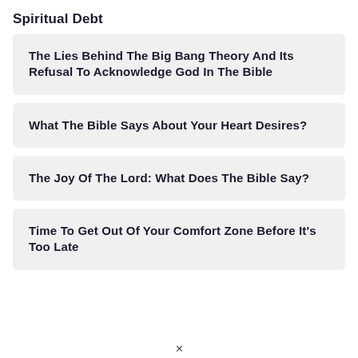Spiritual Debt
The Lies Behind The Big Bang Theory And Its Refusal To Acknowledge God In The Bible
What The Bible Says About Your Heart Desires?
The Joy Of The Lord: What Does The Bible Say?
Time To Get Out Of Your Comfort Zone Before It's Too Late